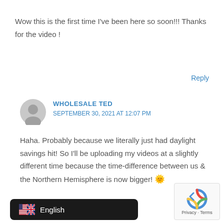Wow this is the first time I've been here so soon!!! Thanks for the video !
Reply
WHOLESALE TED
SEPTEMBER 30, 2021 AT 12:07 PM
Haha. Probably because we literally just had daylight savings hit! So I'll be uploading my videos at a slightly different time because the time-difference between us & the Northern Hemisphere is now bigger! 🌞
Reply
English